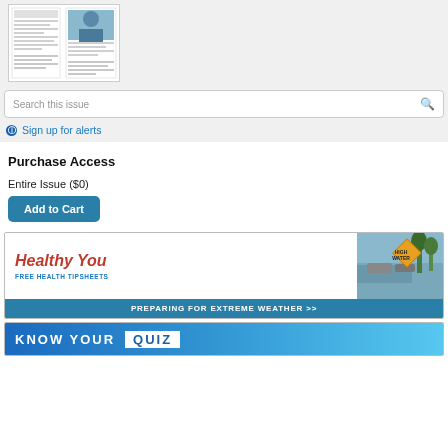[Figure (screenshot): Thumbnail preview of a newsletter/magazine issue showing two page columns with text and a photo of a person wearing a mask]
Search this issue
ℹ Sign up for alerts
Purchase Access
Entire Issue ($0)
Add to Cart
[Figure (infographic): Healthy You - Free Health Tipsheets advertisement banner about Preparing for Extreme Weather with a flood photo and High Water sign]
[Figure (infographic): Know Your QUIZ advertisement banner (partially visible) with blue background]